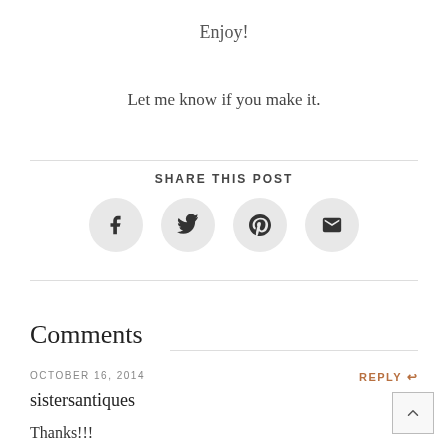Enjoy!
Let me know if you make it.
SHARE THIS POST
[Figure (infographic): Four social share icon buttons in light gray circles: Facebook, Twitter, Pinterest, Email]
Comments
OCTOBER 16, 2014
REPLY ↩
sistersantiques
Thanks!!!